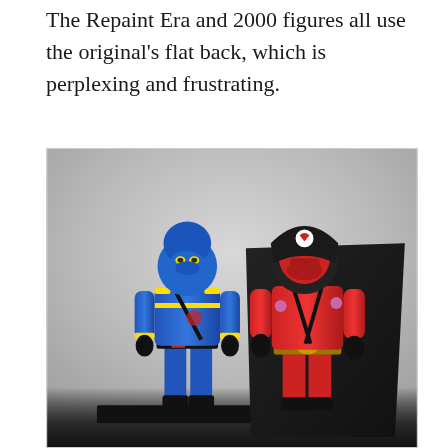The Repaint Era and 2000 figures all use the original's flat back, which is perplexing and frustrating.
[Figure (photo): Two G.I. Joe action figures side by side against a gray background on a black base. Left figure is dressed in blue uniform with yellow accents and a blue masked hood. Right figure is in red with a black hooded cloak/cape, gold belt, and red masked face with a white symbol on the forehead.]